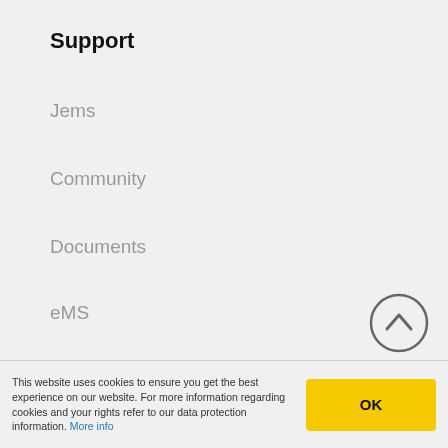Support
Jems
Community
Documents
eMS
FAQs
National information
Newsletter archive
This website uses cookies to ensure you get the best experience on our website. For more information regarding cookies and your rights refer to our data protection information. More info